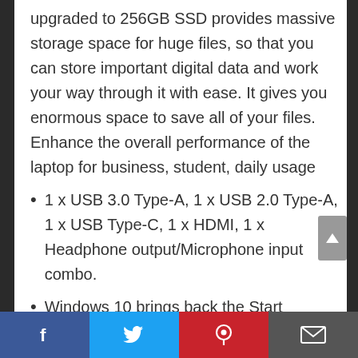upgraded to 256GB SSD provides massive storage space for huge files, so that you can store important digital data and work your way through it with ease. It gives you enormous space to save all of your files. Enhance the overall performance of the laptop for business, student, daily usage
1 x USB 3.0 Type-A, 1 x USB 2.0 Type-A, 1 x USB Type-C, 1 x HDMI, 1 x Headphone output/Microphone input combo.
Windows 10 brings back the Start
[Facebook] [Twitter] [Pinterest] [Email]